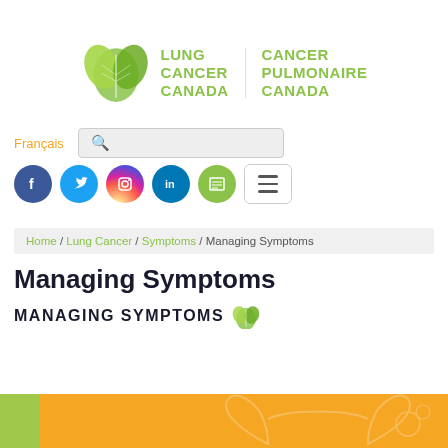[Figure (logo): Lung Cancer Canada / Cancer Pulmonaire Canada logo with green leaf icon and bilingual text]
Français
[Figure (infographic): Navigation row with search bar, Facebook, Twitter, Instagram, LinkedIn, newsletter social icons, and hamburger menu button]
Home / Lung Cancer / Symptoms / Managing Symptoms
Managing Symptoms
MANAGING SYMPTOMS
[Figure (illustration): Orange and green banner image with lung illustration at bottom of page]